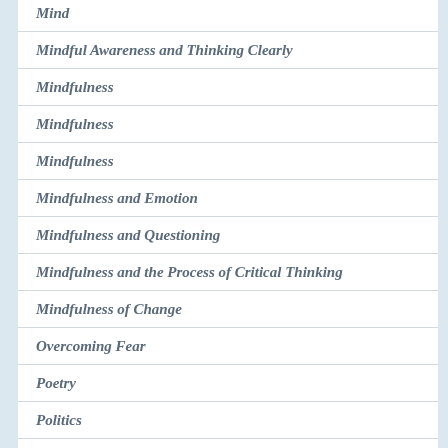Mind
Mindful Awareness and Thinking Clearly
Mindfulness
Mindfulness
Mindfulness
Mindfulness and Emotion
Mindfulness and Questioning
Mindfulness and the Process of Critical Thinking
Mindfulness of Change
Overcoming Fear
Poetry
Politics